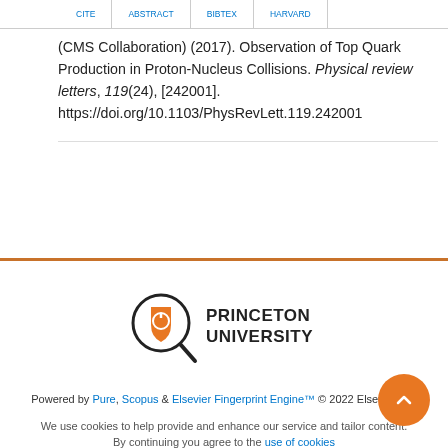(CMS Collaboration) (2017). Observation of Top Quark Production in Proton-Nucleus Collisions. Physical review letters, 119(24), [242001]. https://doi.org/10.1103/PhysRevLett.119.242001
[Figure (logo): Princeton University logo with magnifying glass icon and shield emblem]
Powered by Pure, Scopus & Elsevier Fingerprint Engine™ © 2022 Elsevier B.V
We use cookies to help provide and enhance our service and tailor content. By continuing you agree to the use of cookies
About web accessibility